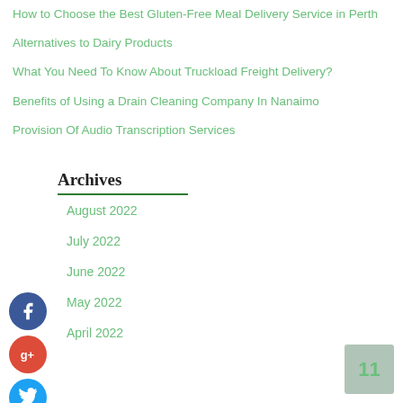How to Choose the Best Gluten-Free Meal Delivery Service in Perth
Alternatives to Dairy Products
What You Need To Know About Truckload Freight Delivery?
Benefits of Using a Drain Cleaning Company In Nanaimo
Provision Of Audio Transcription Services
Archives
August 2022
July 2022
June 2022
May 2022
April 2022